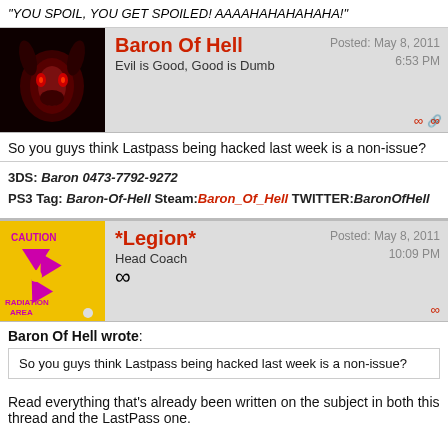"YOU SPOIL, YOU GET SPOILED! AAAAHAHAHAHAHA!"
Baron Of Hell
Evil is Good, Good is Dumb
Posted: May 8, 2011
6:53 PM
So you guys think Lastpass being hacked last week is a non-issue?
3DS: Baron 0473-7792-9272
PS3 Tag: Baron-Of-Hell Steam:Baron_Of_Hell TWITTER:BaronOfHell
*Legion*
Head Coach
Posted: May 8, 2011
10:09 PM
Baron Of Hell wrote:
So you guys think Lastpass being hacked last week is a non-issue?
Read everything that's already been written on the subject in both this thread and the LastPass one.